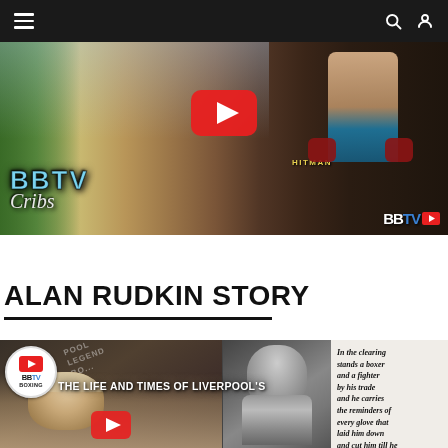Navigation bar with hamburger menu, search and user icons
[Figure (screenshot): BBTV Cribs YouTube video thumbnail showing a shirtless boxer wearing 'HITMAN' trunks standing in front of a gate, with BBTV Cribs logo overlay and YouTube play button]
ALAN RUDKIN STORY
[Figure (screenshot): YouTube video thumbnail for 'The Life and Times of Liverpool's [Alan Rudkin]' showing BBTV Boxing badge, an elderly man's face, a black and white photo of a young boxer, and text reading 'IN THE CLEARING STANDS A BOXER AND A FIGHTER BY HIS TRADE AND HE CARRIES THE REMINDERS OF EVERY GLOVE THAT LAID HIM DOWN AND CUT HIM TILL HE']